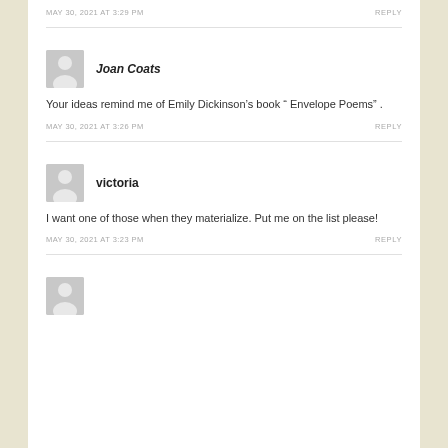MAY 30, 2021 AT 3:29 PM    REPLY
Joan Coats
Your ideas remind me of Emily Dickinson’s book “ Envelope Poems” .
MAY 30, 2021 AT 3:26 PM    REPLY
victoria
I want one of those when they materialize. Put me on the list please!
MAY 30, 2021 AT 3:23 PM    REPLY